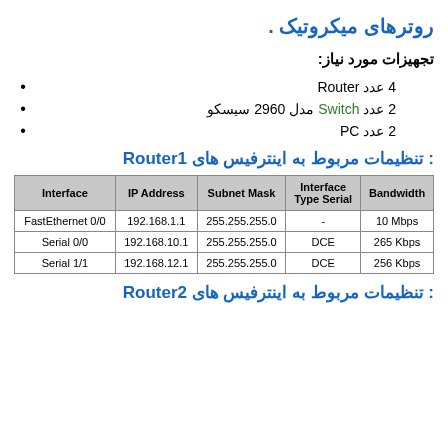روترهای میکروتیک .
تجهیزات مورد نیاز:
4 عدد Router
2 عدد Switch مدل 2960 سیسکو
2 عدد PC
تنظیمات مربوط به اینترفیس های Router1 :
| Interface | IP Address | Subnet Mask | Interface Type Serial | Bandwidth |
| --- | --- | --- | --- | --- |
| FastEthernet 0/0 | 192.168.1.1 | 255.255.255.0 | - | 10 Mbps |
| Serial 0/0 | 192.168.10.1 | 255.255.255.0 | DCE | 265 Kbps |
| Serial 1/1 | 192.168.12.1 | 255.255.255.0 | DCE | 256 Kbps |
تنظیمات مربوط به اینترفیس های Router2 :